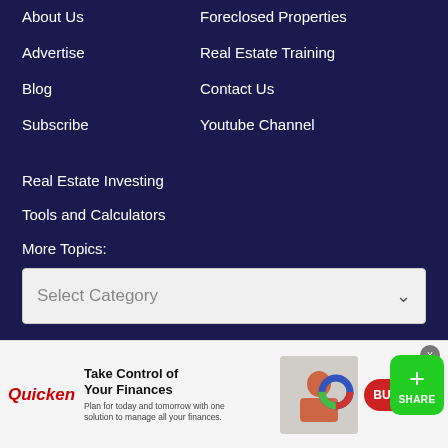About Us
Foreclosed Properties
Advertise
Real Estate Training
Blog
Contact Us
Subscribe
Youtube Channel
Real Estate Investing
Tools and Calculators
More Topics:
Select Category
© 2022 ForeclosurePhilippines.com
Privacy Policy | Terms of Use | Disclaimer
[Figure (screenshot): Green share button with plus icon and SHARE label]
[Figure (screenshot): Quicken advertisement banner: Take Control of Your Finances. BUY NOW button. Woman at laptop image.]